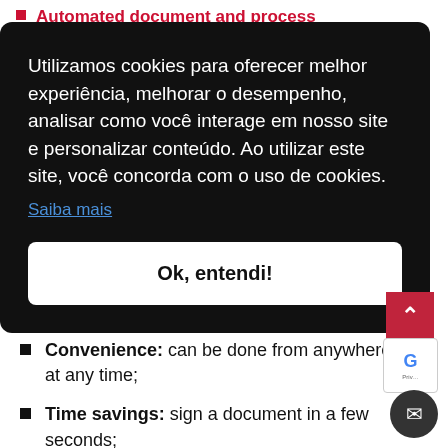Automated document and process
[Figure (screenshot): Cookie consent modal overlay with dark background. Text in Portuguese: 'Utilizamos cookies para oferecer melhor experiência, melhorar o desempenho, analisar como você interage em nosso site e personalizar conteúdo. Ao utilizar este site, você concorda com o uso de cookies.' Link: 'Saiba mais'. Button: 'Ok, entendi!']
Convenience: can be done from anywhere and at any time;
Time savings: sign a document in a few seconds;
Security: the entire process is encrypted and